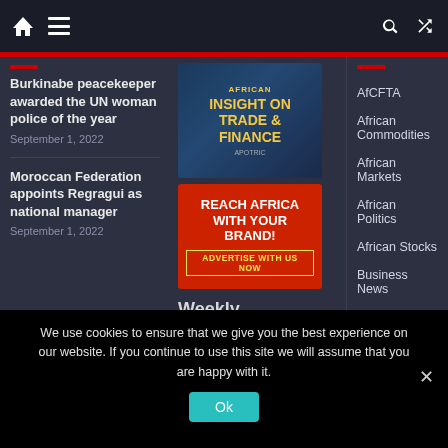Navigation bar with home icon, menu icon, search icon, shuffle icon
Burkinabe peacekeeper awarded the UN woman police of the year — September 1, 2022
Moroccan Federation appoints Regragui as national manager — September 1, 2022
[Figure (illustration): Banner: African Insight on Trade & Finance]
[Figure (illustration): Red banner: Reach Africa With Your Brand! Advertise With Us Now]
Weekly Editorial
AfCFTA
African Commodities
African Markets
African Politics
African Stocks
Business News
Currencies
We use cookies to ensure that we give you the best experience on our website. If you continue to use this site we will assume that you are happy with it.
Ok